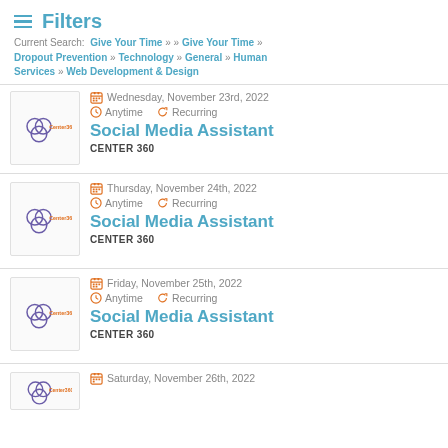Filters
Current Search: Give Your Time » » Give Your Time » Dropout Prevention » Technology » General » Human Services » Web Development & Design
Wednesday, November 23rd, 2022 | Anytime | Recurring | Social Media Assistant | CENTER 360
Thursday, November 24th, 2022 | Anytime | Recurring | Social Media Assistant | CENTER 360
Friday, November 25th, 2022 | Anytime | Recurring | Social Media Assistant | CENTER 360
Saturday, November 26th, 2022